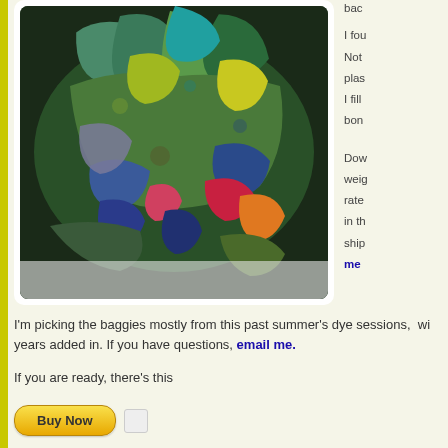[Figure (photo): A pile of colorful felted fabric scraps in various colors including teal, green, yellow, blue, pink, red, orange on a white surface]
I fou... Not... plas... I fill... bon...
Dow... weig... rate... in th... ship... me
I'm picking the baggies mostly from this past summer's dye sessions,  wi... years added in. If you have questions, email me.
If you are ready, there's this
[Figure (other): PayPal Buy Now button with checkbox]